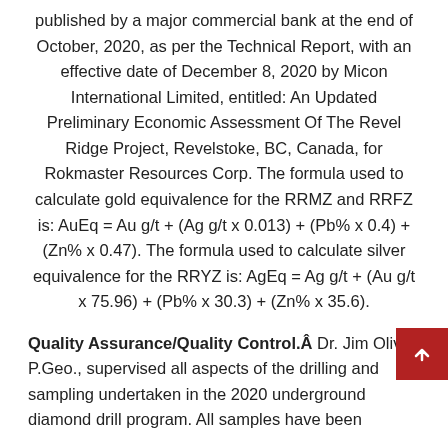published by a major commercial bank at the end of October, 2020, as per the Technical Report, with an effective date of December 8, 2020 by Micon International Limited, entitled: An Updated Preliminary Economic Assessment Of The Revel Ridge Project, Revelstoke, BC, Canada, for Rokmaster Resources Corp. The formula used to calculate gold equivalence for the RRMZ and RRFZ is: AuEq = Au g/t + (Ag g/t x 0.013) + (Pb% x 0.4) + (Zn% x 0.47). The formula used to calculate silver equivalence for the RRYZ is: AgEq = Ag g/t + (Au g/t x 75.96) + (Pb% x 30.3) + (Zn% x 35.6).
Quality Assurance/Quality Control.Â Dr. Jim Oliver, P.Geo., supervised all aspects of the drilling and sampling undertaken in the 2020 underground diamond drill program. All samples have been